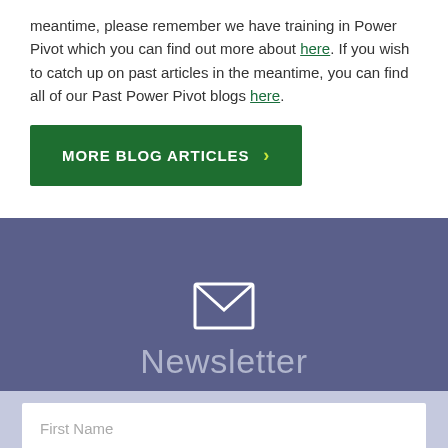meantime, please remember we have training in Power Pivot which you can find out more about here. If you wish to catch up on past articles in the meantime, you can find all of our Past Power Pivot blogs here.
MORE BLOG ARTICLES >
[Figure (infographic): Newsletter signup section with envelope icon and 'Newsletter' text on a dark blue-purple background, followed by First Name and Last Name input fields on a light blue-purple background]